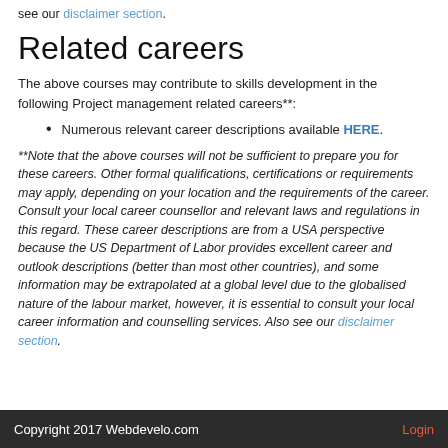see our disclaimer section.
Related careers
The above courses may contribute to skills development in the following Project management related careers**:
Numerous relevant career descriptions available HERE.
**Note that the above courses will not be sufficient to prepare you for these careers. Other formal qualifications, certifications or requirements may apply, depending on your location and the requirements of the career. Consult your local career counsellor and relevant laws and regulations in this regard. These career descriptions are from a USA perspective because the US Department of Labor provides excellent career and outlook descriptions (better than most other countries), and some information may be extrapolated at a global level due to the globalised nature of the labour market, however, it is essential to consult your local career information and counselling services. Also see our disclaimer section.
Copyright 2017 Webdevelo.com    Login